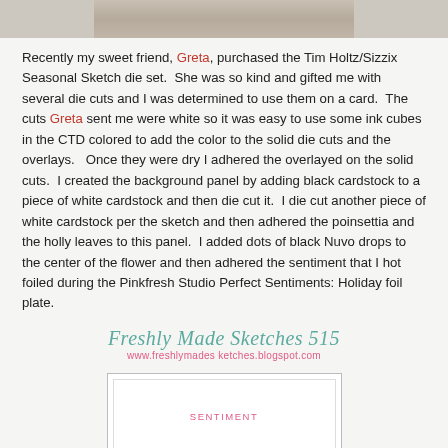[Figure (photo): Partial photo strip at top of page showing a craft/floral arrangement]
Recently my sweet friend, Greta, purchased the Tim Holtz/Sizzix Seasonal Sketch die set.  She was so kind and gifted me with several die cuts and I was determined to use them on a card.  The cuts Greta sent me were white so it was easy to use some ink cubes in the CTD colored to add the color to the solid die cuts and the overlays.   Once they were dry I adhered the overlayed on the solid cuts.  I created the background panel by adding black cardstock to a piece of white cardstock and then die cut it.  I die cut another piece of white cardstock per the sketch and then adhered the poinsettia and the holly leaves to this panel.  I added dots of black Nuvo drops to the center of the flower and then adhered the sentiment that I hot foiled during the Pinkfresh Studio Perfect Sentiments: Holiday foil plate.
[Figure (logo): Freshly Made Sketches 515 logo with URL www.freshlymades ketches.blogspot.com]
[Figure (other): White card sketch template box with SENTIMENT label placeholder inside]